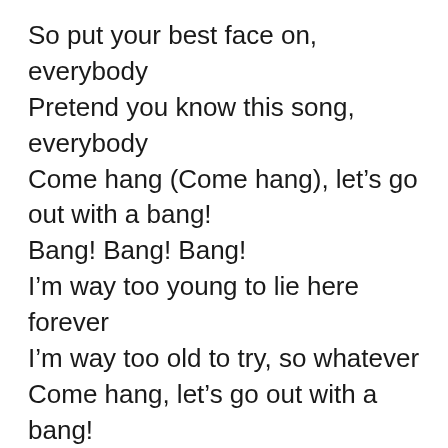So put your best face on, everybody
Pretend you know this song, everybody
Come hang (Come hang), let's go out with a bang!
Bang! Bang! Bang!
I'm way too young to lie here forever
I'm way too old to try, so whatever
Come hang, let's go out with a bang!
Bang! Bang! Bang!
[Verse 2]
Feel like I'm gonna puke 'cause my taxes are due
Does my password begin with a one or a two?
Been a hell of a ride, but I'm thinking it's time to grow
Bang! Bang! Bang! (Metronome!)
Man, I'm up to something (Up to something)